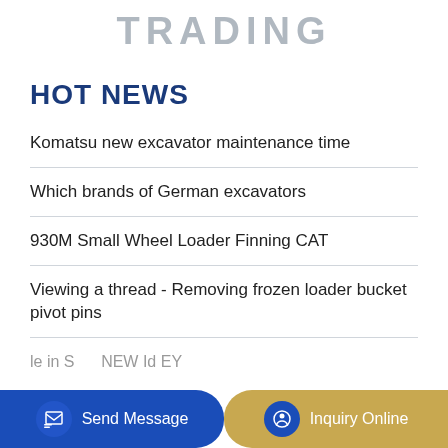TRADING
HOT NEWS
Komatsu new excavator maintenance time
Which brands of German excavators
930M Small Wheel Loader Finning CAT
Viewing a thread - Removing frozen loader bucket pivot pins